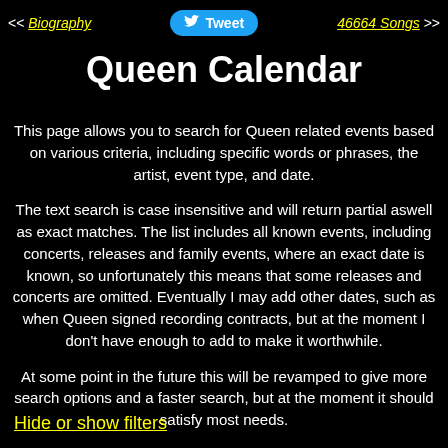<< Biography | Tweet | 46664 Songs >>
Queen Calendar
This page allows you to search for Queen related events based on various criteria, including specific words or phrases, the artist, event type, and date.
The text search is case insensitive and will return partial aswell as exact matches. The list includes all known events, including concerts, releases and family events, where an exact date is known, so unfortunately this means that some releases and concerts are omitted. Eventually I may add other dates, such as when Queen signed recording contracts, but at the moment I don't have enough to add to make it worthwhile.
At some point in the future this will be revamped to give more search options and a faster search, but at the moment it should satisfy most needs.
Hide or show filters